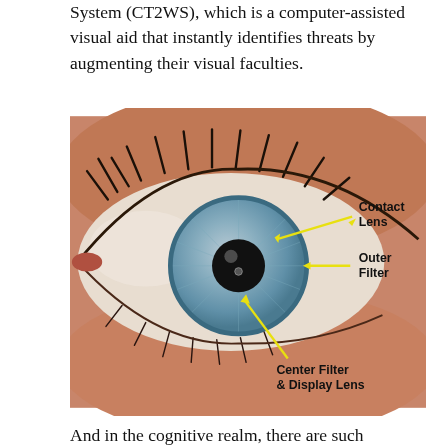System (CT2WS), which is a computer-assisted visual aid that instantly identifies threats by augmenting their visual faculties.
[Figure (illustration): Close-up photograph of a human eye with labeled annotations showing: Contact Lens (upper right area of iris), Outer Filter (right side of iris), and Center Filter & Display Lens (lower center of iris). Annotations are in yellow arrows with black bold text labels.]
And in the cognitive realm, there are such